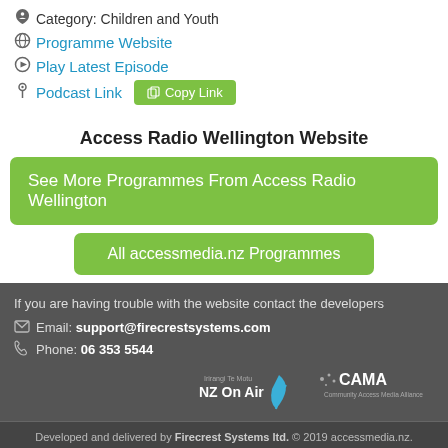Category: Children and Youth
Programme Website
Play Latest Episode
Podcast Link  Copy Link
Access Radio Wellington Website
See More Programmes From Access Radio Wellington
All accessmedia.nz Programmes
If you are having trouble with the website contact the developers
Email: support@firecrestsystems.com
Phone: 06 353 5544
[Figure (logo): NZ On Air and CAMA logos]
Developed and delivered by Firecrest Systems ltd. © 2019 accessmedia.nz. All rights reserved.